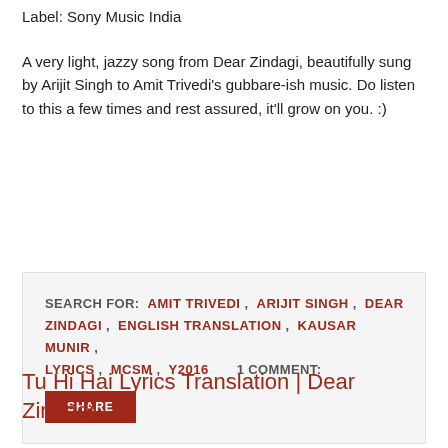Label: Sony Music India
A very light, jazzy song from Dear Zindagi, beautifully sung by Arijit Singh to Amit Trivedi's gubbare-ish music. Do listen to this a few times and rest assured, it'll grow on you. :)
SEARCH FOR: AMIT TRIVEDI , ARIJIT SINGH , DEAR ZINDAGI , ENGLISH TRANSLATION , KAUSAR MUNIR , LYRICS , MCSM , Y2016      1 COMMENT:
SHARE
Tu Hi Hai Lyrics Translation | Dear Zindagi